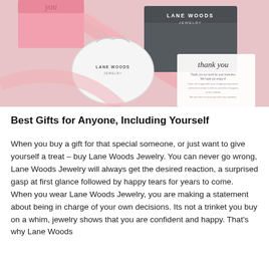[Figure (photo): Photo of Lane Woods Jewelry packaging: a white drawstring pouch with 'Lane Woods Jewelry' text, a dark gray gift box with 'Lane Woods Jewelry' label, pink ribbon, a pink box, and a 'thank you' card, all on a pink background.]
Best Gifts for Anyone, Including Yourself
When you buy a gift for that special someone, or just want to give yourself a treat – buy Lane Woods Jewelry. You can never go wrong, Lane Woods Jewelry will always get the desired reaction, a surprised gasp at first glance followed by happy tears for years to come.
When you wear Lane Woods Jewelry, you are making a statement about being in charge of your own decisions. Its not a trinket you buy on a whim, jewelry shows that you are confident and happy. That's why Lane Woods